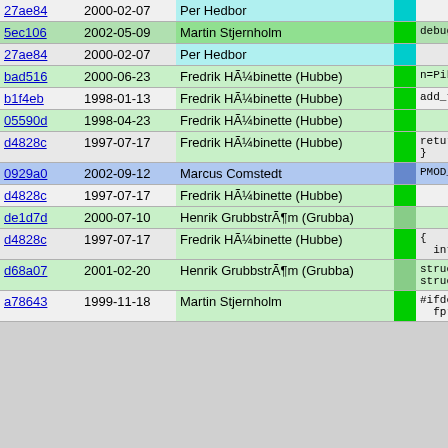| Hash | Date | Author |  | Code |
| --- | --- | --- | --- | --- |
| 27ae84 | 2000-02-07 | Per Hedbor |  |  |
| 5ec106 | 2002-05-09 | Martin Stjernholm |  | debug_ad |
| 27ae84 | 2000-02-07 | Per Hedbor |  |  |
| bad516 | 2000-06-23 | Fredrik HÃ¼binette (Hubbe) |  | n=Pike_c |
| b1f4eb | 1998-01-13 | Fredrik HÃ¼binette (Hubbe) |  | add_to_i |
| 05590d | 1998-04-23 | Fredrik HÃ¼binette (Hubbe) |  |  |
| d4828c | 1997-07-17 | Fredrik HÃ¼binette (Hubbe) |  | return n
} |
| 0929a0 | 2002-09-12 | Marcus Comstedt |  | PMOD_EXPOR |
| d4828c | 1997-07-17 | Fredrik HÃ¼binette (Hubbe) |  |  |
| de1d7d | 2000-07-10 | Henrik GrubbstrÃ¶m (Grubba) |  |  |
| d4828c | 1997-07-17 | Fredrik HÃ¼binette (Hubbe) |  | {
  int ret; |
| d68a07 | 2001-02-20 | Henrik GrubbstrÃ¶m (Grubba) |  | struct p
struct p |
| a78643 | 1999-11-18 | Martin Stjernholm |  | #ifdef PRO
  fprintf |